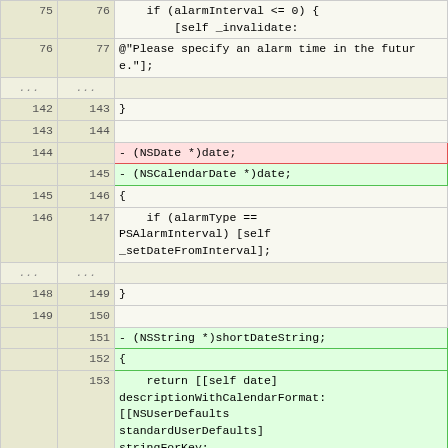| old | new | code |
| --- | --- | --- |
| 75 | 76 | if (alarmInterval <= 0) {
        [self _invalidate: |
| 76 | 77 | @"Please specify an alarm time in the future."]; |
| ... | ... |  |
| 142 | 143 | } |
| 143 | 144 |  |
| 144 |  | - (NSDate *)date; |
|  | 145 | - (NSCalendarDate *)date; |
| 145 | 146 | { |
| 146 | 147 |     if (alarmType == PSAlarmInterval) [self _setDateFromInterval]; |
| ... | ... |  |
| 148 | 149 | } |
| 149 | 150 |  |
|  | 151 | - (NSString *)shortDateString; |
|  | 152 | { |
|  | 153 |     return [[self date] descriptionWithCalendarFormat: [[NSUserDefaults standardUserDefaults] stringForKey: NSShortDateFormatString]; |